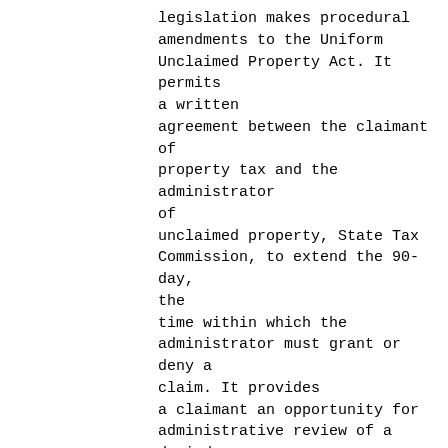legislation makes procedural amendments to the Uniform Unclaimed Property Act. It permits a written agreement between the claimant of property tax and the administrator of unclaimed property, State Tax Commission, to extend the 90-day, the time within which the administrator must grant or deny a claim. It provides a claimant an opportunity for administrative review of a denied claim before having to file a judicial appeal.
MOTION: Representative Raybould moved to introduce RS12398. Motion passed on a voice vote.